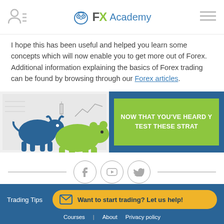FX Academy
I hope this has been useful and helped you learn some concepts which will now enable you to get more out of Forex. Additional information explaining the basics of Forex trading can be found by browsing through our Forex articles.
[Figure (illustration): Illustration of a blue bull and green bear with financial chart icons in background, alongside a dark blue banner with green CTA box reading NOW THAT YOU'VE HEARD / TEST THESE STRAT...]
[Figure (infographic): Social media bar with Facebook, YouTube, and Twitter circle icons with horizontal lines on each side]
Trading Tips | Courses | About | Privacy policy | Want to start trading? Let us help!